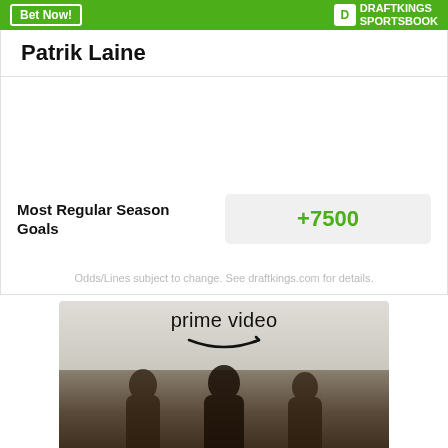Bet Now! | DRAFTKINGS SPORTSBOOK
Patrik Laine
Most Regular Season Goals +7500
Odds/Lines subject to change. See draftkings.com for details.
[Figure (photo): Amazon Prime Video advertisement showing three hooded medieval-looking figures in outdoor setting]